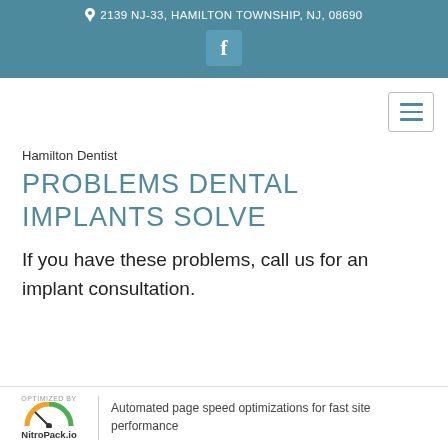2139 NJ-33, HAMILTON TOWNSHIP, NJ, 08690
[Figure (logo): Facebook icon in teal header bar]
[Figure (other): Hamburger menu button with three horizontal lines in teal color]
Hamilton Dentist
PROBLEMS DENTAL IMPLANTS SOLVE
If you have these problems, call us for an implant consultation.
OPTIMIZED BY NitroPack.io | Automated page speed optimizations for fast site performance